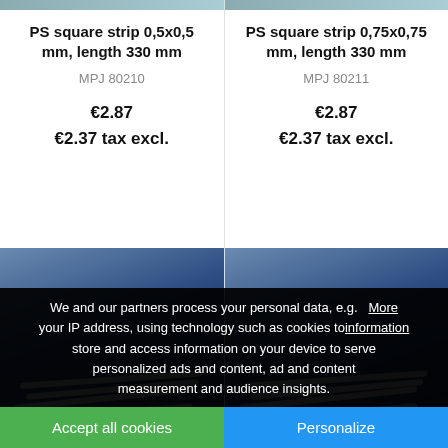[Figure (photo): PS square strip product image, left column top]
PS square strip 0,5x0,5 mm, length 330 mm
MPJ 80210
€2.87
€2.37 tax excl.
[Figure (photo): PS square strip product image, right column top]
PS square strip 0,75x0,75 mm, length 330 mm
MPJ 80211
€2.87
€2.37 tax excl.
[Figure (photo): PS strip product image, left column bottom]
[Figure (photo): PS strip product image, right column bottom]
We and our partners process your personal data, e.g. your IP address, using technology such as cookies to store and access information on your device to serve personalized ads and content, ad and content measurement and audience insights. More information
Accept all cookies
Personalize